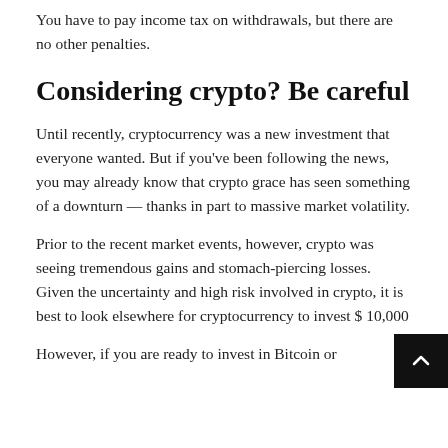You have to pay income tax on withdrawals, but there are no other penalties.
Considering crypto? Be careful
Until recently, cryptocurrency was a new investment that everyone wanted. But if you've been following the news, you may already know that crypto grace has seen something of a downturn — thanks in part to massive market volatility.
Prior to the recent market events, however, crypto was seeing tremendous gains and stomach-piercing losses. Given the uncertainty and high risk involved in crypto, it is best to look elsewhere for cryptocurrency to invest $ 10,000
However, if you are ready to invest in Bitcoin or